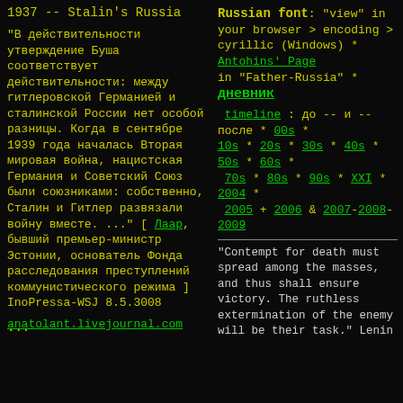1937 -- Stalin's Russia
"В действительности утверждение Буша соответствует действительности: между гитлеровской Германией и сталинской России нет особой разницы. Когда в сентябре 1939 года началась Вторая мировая война, нацистская Германия и Советский Союз были союзниками: собственно, Сталин и Гитлер развязали войну вместе. ..." [ Ла́ар, бывший премьер-министр Эстонии, основатель Фонда расследования преступлений коммунистического режима ] InoPressa-WSJ 8.5.3008
...
anatolant.livejournal.com
Russian font: "view" in your browser > encoding > cyrillic (Windows) * Antohins' Page in "Father-Russia" * дневник
timeline : до -- и -- после * 00s * 10s * 20s * 30s * 40s * 50s * 60s * 70s * 80s * 90s * XXI * 2004 * 2005 + 2006 & 2007-2008-2009
"Contempt for death must spread among the masses, and thus shall ensure victory. The ruthless extermination of the enemy will be their task." Lenin